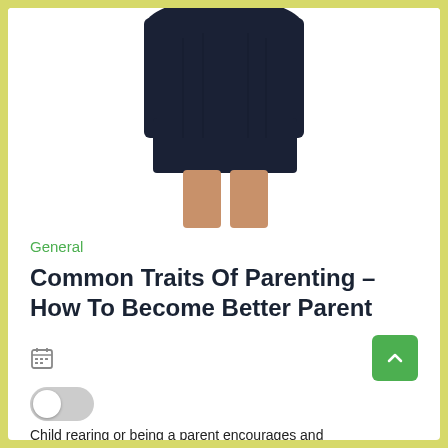[Figure (photo): Lower half of a person wearing a navy blue skirt/shorts, bare legs visible from mid-thigh down, on white background]
General
Common Traits Of Parenting – How To Become Better Parent
[Figure (other): Calendar icon, back-to-top green button with chevron, and toggle switch UI element]
Child rearing or being a parent encourages and